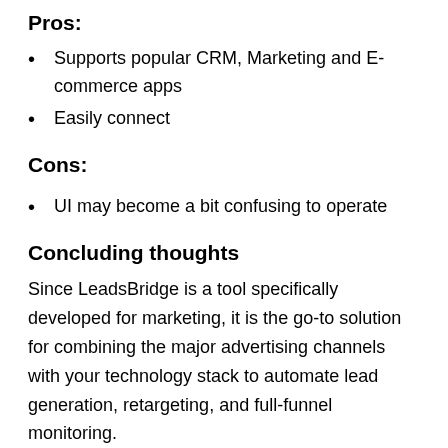Pros:
Supports popular CRM, Marketing and E-commerce apps
Easily connect
Cons:
UI may become a bit confusing to operate
Concluding thoughts
Since LeadsBridge is a tool specifically developed for marketing, it is the go-to solution for combining the major advertising channels with your technology stack to automate lead generation, retargeting, and full-funnel monitoring.